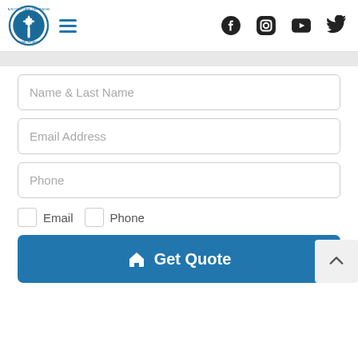[Figure (logo): Palm Coast and the Beaches Real Estate circular logo with palm tree, and hamburger menu icon]
[Figure (infographic): Social media icons: Facebook, Instagram, YouTube, Twitter]
Name & Last Name
Email Address
Phone
Email  Phone (checkbox labels)
Get Quote